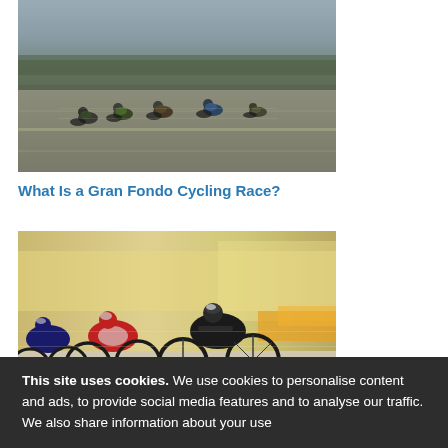[Figure (photo): Cyclists racing on a road, motion blur background, aerial/distant view showing a group of riders]
What Is a Gran Fondo Cycling Race?
[Figure (photo): Cyclists in a criterium race, close-up view, motion blur, riders leaning in a turn on a city street]
This site uses cookies. We use cookies to personalise content and ads, to provide social media features and to analyse our traffic. We also share information about your use